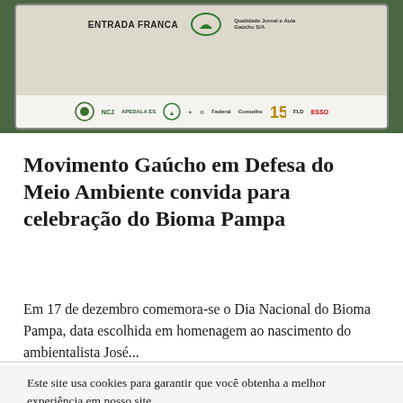[Figure (photo): Photo of a banner or sign on a green background with logos of various organizations at the bottom including NCJ, APEDALA, and others. Text at top reads 'Entrada Franca' with a green logo.]
Movimento Gaúcho em Defesa do Meio Ambiente convida para celebração do Bioma Pampa
Em 17 de dezembro comemora-se o Dia Nacional do Bioma Pampa, data escolhida em homenagem ao nascimento do ambientalista José...
Este site usa cookies para garantir que você obtenha a melhor experiência em nosso site.